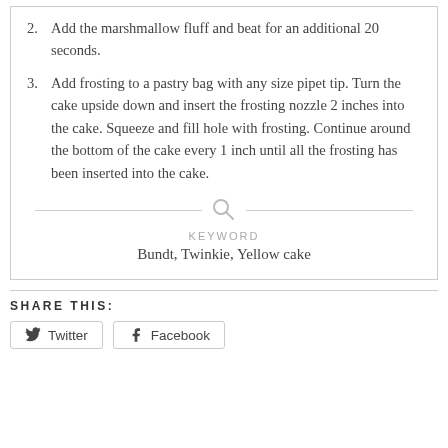2. Add the marshmallow fluff and beat for an additional 20 seconds.
3. Add frosting to a pastry bag with any size pipet tip. Turn the cake upside down and insert the frosting nozzle 2 inches into the cake. Squeeze and fill hole with frosting. Continue around the bottom of the cake every 1 inch until all the frosting has been inserted into the cake.
KEYWORD
Bundt, Twinkie, Yellow cake
SHARE THIS:
Twitter   Facebook